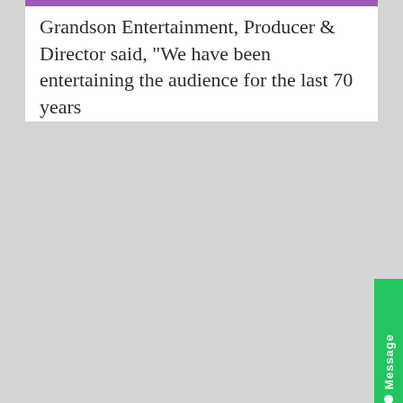Grandson Entertainment, Producer & Director said, "We have been entertaining the audience for the last 70 years
[Figure (other): Green vertical Message tab/button on the right side of the page]